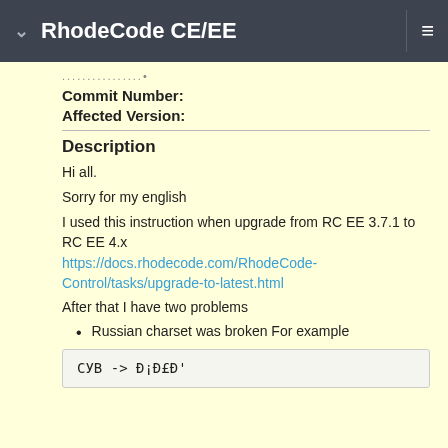RhodeCode CE/EE
....................
Commit Number:
Affected Version:
Description
Hi all.
Sorry for my english
I used this instruction when upgrade from RC EE 3.7.1 to RC EE 4.x
https://docs.rhodecode.com/RhodeCode-Control/tasks/upgrade-to-latest.html
After that I have two problems
Russian charset was broken For example
СУВ -> Ð¡Ð£Ð'